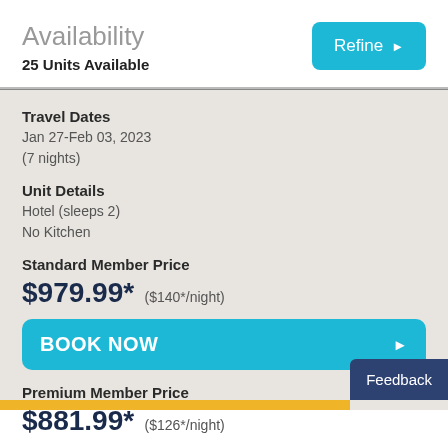Availability
25 Units Available
Travel Dates
Jan 27-Feb 03, 2023
(7 nights)
Unit Details
Hotel (sleeps 2)
No Kitchen
Standard Member Price
$979.99* ($140*/night)
BOOK NOW
Premium Member Price
$881.99* ($126*/night)
Feedback